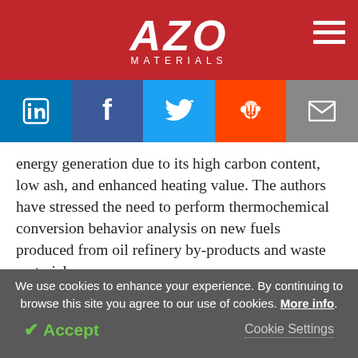AZO MATERIALS
[Figure (infographic): Social sharing buttons: LinkedIn, Facebook, Twitter, Reddit, Email]
energy generation due to its high carbon content, low ash, and enhanced heating value. The authors have stressed the need to perform thermochemical conversion behavior analysis on new fuels produced from oil refinery by-products and waste materials.
Residual metals are abundant in oil refinery waste
We use cookies to enhance your experience. By continuing to browse this site you agree to our use of cookies. More info.
Accept   Cookie Settings